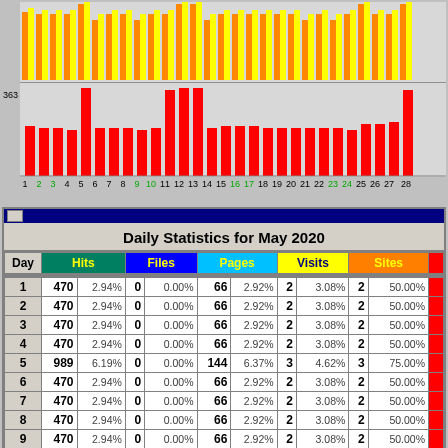[Figure (grouped-bar-chart): Bar chart showing daily hits (orange/yellow bars top) and pages/visits (red bars bottom) for each day 1-28+ of May 2020. Y-axis label shows 363.]
| Day | Hits |  | Files |  | Pages |  | Visits |  | Sites |  |
| --- | --- | --- | --- | --- | --- | --- | --- | --- | --- | --- |
| 1 | 470 | 2.94% | 0 | 0.00% | 66 | 2.92% | 2 | 3.08% | 2 | 50.00% |
| 2 | 470 | 2.94% | 0 | 0.00% | 66 | 2.92% | 2 | 3.08% | 2 | 50.00% |
| 3 | 470 | 2.94% | 0 | 0.00% | 66 | 2.92% | 2 | 3.08% | 2 | 50.00% |
| 4 | 470 | 2.94% | 0 | 0.00% | 66 | 2.92% | 2 | 3.08% | 2 | 50.00% |
| 5 | 989 | 6.19% | 0 | 0.00% | 144 | 6.37% | 3 | 4.62% | 3 | 75.00% |
| 6 | 470 | 2.94% | 0 | 0.00% | 66 | 2.92% | 2 | 3.08% | 2 | 50.00% |
| 7 | 470 | 2.94% | 0 | 0.00% | 66 | 2.92% | 2 | 3.08% | 2 | 50.00% |
| 8 | 470 | 2.94% | 0 | 0.00% | 66 | 2.92% | 2 | 3.08% | 2 | 50.00% |
| 9 | 470 | 2.94% | 0 | 0.00% | 66 | 2.92% | 2 | 3.08% | 2 | 50.00% |